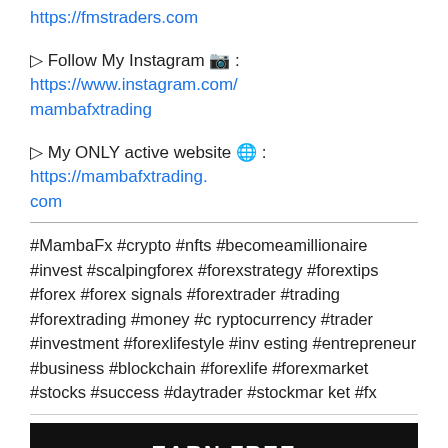https://fmstraders.com
▷ Follow My Instagram 📷 : https://www.instagram.com/mambafxtrading
▷ My ONLY active website 🌐 : https://mambafxtrading.com
#MambaFx #crypto #nfts #becomeamillionaire #invest #scalpingforex #forexstrategy #forextips #forex #forexsignals #forextrader #trading #forextrading #money #cryptocurrency #trader #investment #forexlifestyle #investing #entrepreneur #business #blockchain #forexlife #forexmarket #stocks #success #daytrader #stockmarket #fx
[Figure (photo): Dark banner image with text 'EARN FREE' in bold white capital letters]